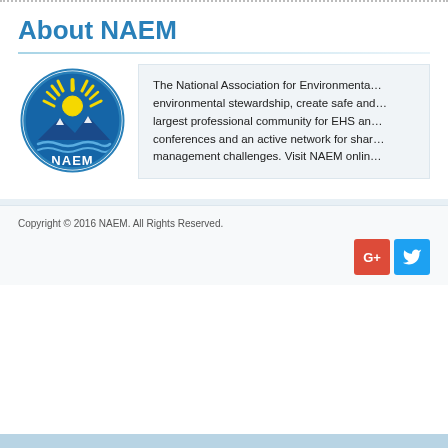About NAEM
[Figure (logo): NAEM circular logo with blue background, yellow sun rays, mountain silhouette, and NAEM text]
The National Association for Environmental... environmental stewardship, create safe and... largest professional community for EHS and... conferences and an active network for sharing... management challenges. Visit NAEM online...
Copyright © 2016 NAEM. All Rights Reserved.